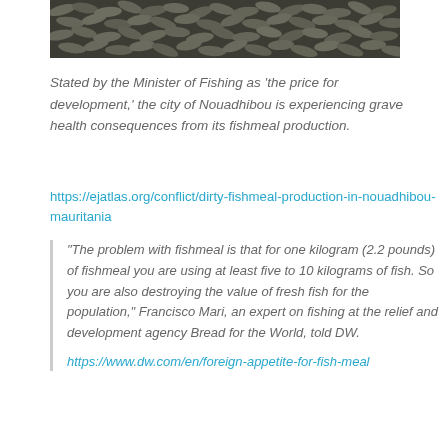[Figure (photo): Aerial or close-up view of a large quantity of small fish packed together, likely sardines or similar small fish used for fishmeal production.]
Stated by the Minister of Fishing as 'the price for development,' the city of Nouadhibou is experiencing grave health consequences from its fishmeal production.
https://ejatlas.org/conflict/dirty-fishmeal-production-in-nouadhibou-mauritania
"The problem with fishmeal is that for one kilogram (2.2 pounds) of fishmeal you are using at least five to 10 kilograms of fish. So you are also destroying the value of fresh fish for the population," Francisco Mari, an expert on fishing at the relief and development agency Bread for the World, told DW.
https://www.dw.com/en/foreign-appetite-for-fish-meal